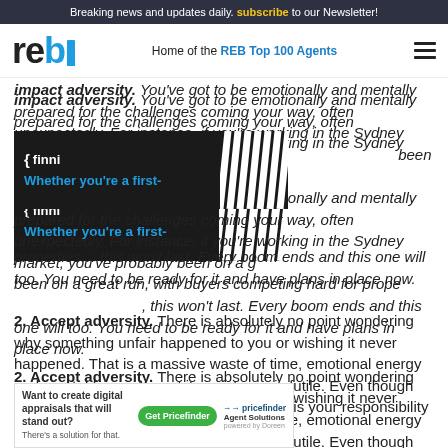Breaking news and updates daily. subscribe to our Newsletter!
reb — Home of the REB Top 100 Agents
impact adversity. You've got to be emotionally and mentally prepared for the challenges coming your way, often unexpectedly. For instance, if you're working in the Sydney market, you've probably been on a great run, with buyers competing hard for properties… this won't last. Every boom ends and this one will too. You need to be ready for it and have plans in place now.
[Figure (advertisement): Finni advertisement overlay with dark background and 'Whether you're a first-' tagline in blue text]
2. Accept adversity. There is absolutely no point wondering why something unfair happened to you or wishing it never happened. That is a massive waste of time, emotional energy and mental focus. Accept it: resistance is futile. Even though the event may not have been your fault, it is your responsibility to move forward and come
[Figure (advertisement): Pricefinder Agent Solutions ad: 'Want to create digital appraisals that will stand out? There's a solution for that.' with Get Pricefinder CTA button]